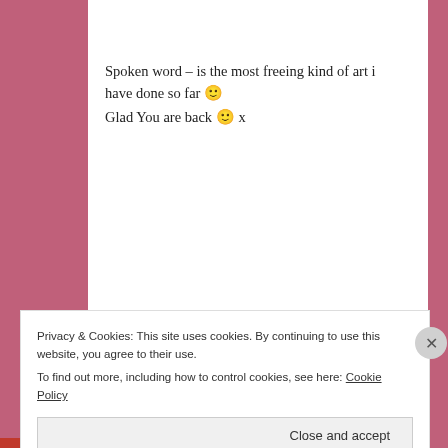Spoken word – is the most freeing kind of art i have done so far 🙂
Glad You are back 🙂 x
★ Like
[Figure (other): Advertisement banner with icon and text: same page is easy. And free.]
REPORT THIS AD
Privacy & Cookies: This site uses cookies. By continuing to use this website, you agree to their use.
To find out more, including how to control cookies, see here: Cookie Policy
Close and accept
REPORT THIS AD